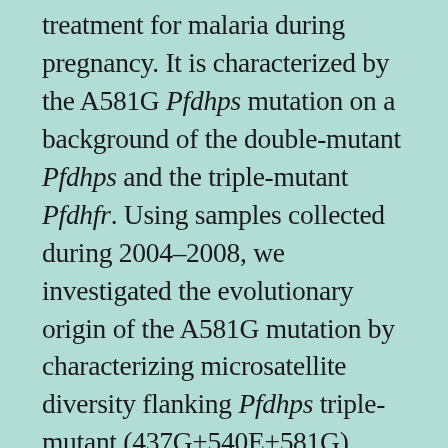treatment for malaria during pregnancy. It is characterized by the A581G Pfdhps mutation on a background of the double-mutant Pfdhps and the triple-mutant Pfdhfr. Using samples collected during 2004–2008, we investigated the evolutionary origin of the A581G mutation by characterizing microsatellite diversity flanking Pfdhps triple-mutant (437G+540E+581G) alleles from 3 locations in eastern Africa and comparing it with double-mutant (437G+540E) alleles from the same area. In Ethiopia, both alleles derived from 1 lineage that was distinct from those in Uganda and Tanzania. Uganda and Tanzania triple mutants derived from the previously characterized southeastern Africa double-mutant lineage. The A581G mutation has occurred multiple times on local Pfdhps double-mutant backgrounds; however, a novel